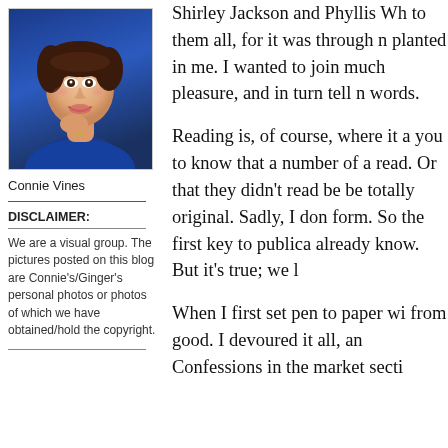[Figure (photo): Portrait photo of a woman with dark hair in a blue outfit, hand raised to her chin, smiling.]
Connie Vines
DISCLAIMER:
We are a visual group. The pictures posted on this blog are Connie's/Ginger's personal photos or photos of which we have obtained/hold the copyright.
Shirley Jackson and Phyllis Wh to them all, for it was through n planted in me. I wanted to join much pleasure, and in turn tell n words.
Reading is, of course, where it a you to know that a number of a read. Or that they didn't read be be totally original. Sadly, I don form. So the first key to publica already know. But it's true; we l
When I first set pen to paper wi from good. I devoured it all, an Confessions in the market secti